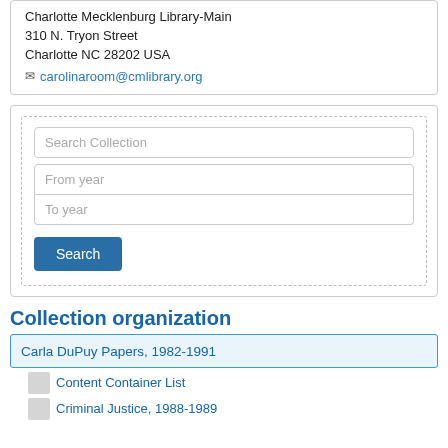Charlotte Mecklenburg Library-Main
310 N. Tryon Street
Charlotte NC 28202 USA
carolinaroom@cmlibrary.org
[Figure (screenshot): Search Collection form with text input, From year and To year fields, and a Search button]
Collection organization
Carla DuPuy Papers, 1982-1991
Content Container List
Criminal Justice, 1988-1989